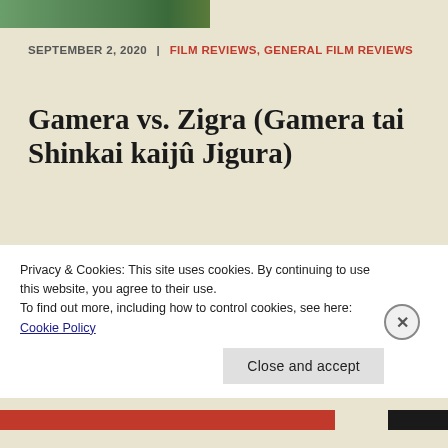[Figure (photo): Partial image strip at top of page showing green/nature colors]
SEPTEMBER 2, 2020 | FILM REVIEWS, GENERAL FILM REVIEWS
Gamera vs. Zigra (Gamera tai Shinkai kaijû Jigura)
Gamera vs. Zigra (Gamera tai Shinkai kaijû Jigura) Japan (1971) Dir. Noriaki Yuasa It seems protecting the earth from recently awoken dormant monsters or alien invaders is a never ending job
Privacy & Cookies: This site uses cookies. By continuing to use this website, you agree to their use.
To find out more, including how to control cookies, see here: Cookie Policy
Close and accept